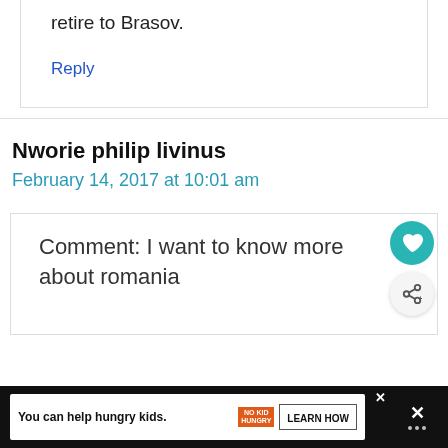retire to Brasov.
Reply
Nworie philip livinus
February 14, 2017 at 10:01 am
Comment: I want to know more about romania
You can help hungry kids. NO KID HUNGRY LEARN HOW